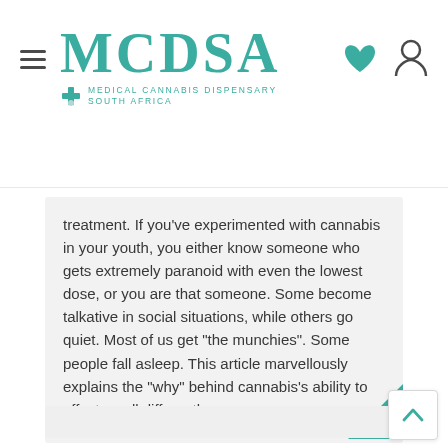MCDSA — Medical Cannabis Dispensary South Africa
treatment. If you've experimented with cannabis in your youth, you either know someone who gets extremely paranoid with even the lowest dose, or you are that someone. Some become talkative in social situations, while others go quiet. Most of us get "the munchies". Some people fall asleep. This article marvellously explains the "why" behind cannabis's ability to affect us all differently.
[Figure (photo): Gray placeholder image card below the article excerpt]